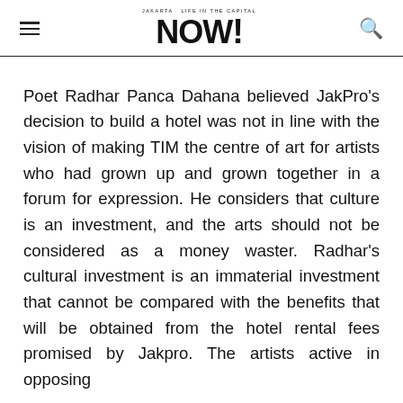Jakarta Now! — Life in the capital
Poet Radhar Panca Dahana believed JakPro's decision to build a hotel was not in line with the vision of making TIM the centre of art for artists who had grown up and grown together in a forum for expression. He considers that culture is an investment, and the arts should not be considered as a money waster. Radhar's cultural investment is an immaterial investment that cannot be compared with the benefits that will be obtained from the hotel rental fees promised by Jakpro. The artists active in opposing